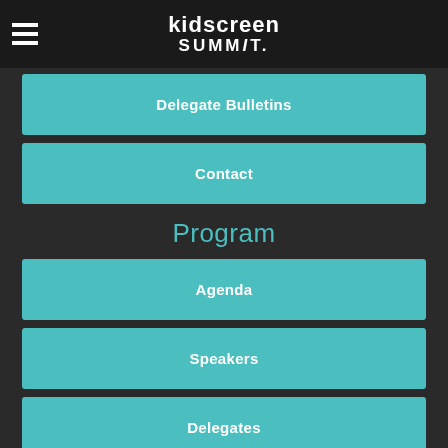kidscreen summit
Delegate Bulletins
Contact
Program
Agenda
Speakers
Delegates
Master & Mentor Classes
Location
Venue